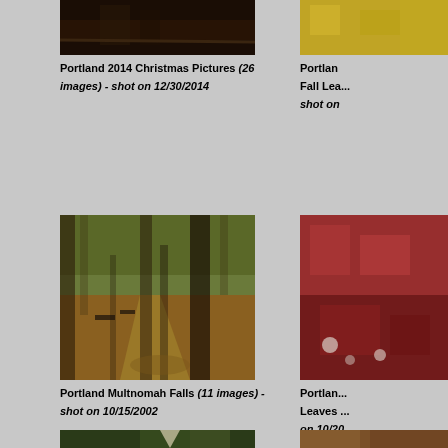[Figure (photo): Portland Christmas scene, dark night photo]
Portland 2014 Christmas Pictures (26 images) - shot on 12/30/2014
[Figure (photo): Fall leaves, yellow foliage photo (partially cropped on right)]
Portland Fall Lea... shot on ...
[Figure (photo): Portland park with fallen autumn leaves on ground, benches, trees]
Portland Multnomah Falls (11 images) - shot on 10/15/2002
[Figure (photo): Portland leaves collage, partially cropped on right]
Portland... Leaves ... on 10/20...
[Figure (photo): Park with large tree and building rooftop, bottom of page]
[Figure (photo): Partially visible photo on lower right]